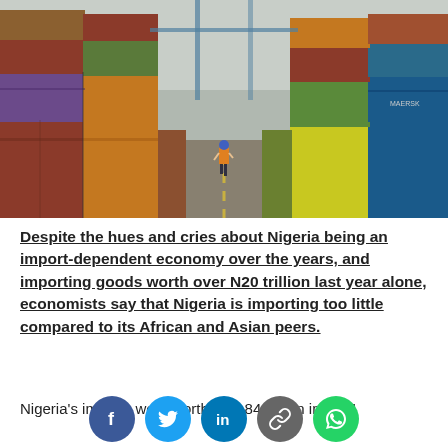[Figure (photo): Port/shipping yard scene with colorful stacked shipping containers on both sides forming a corridor, a worker in an orange safety vest and blue helmet walking in the middle, with a large crane structure visible in the background under an overcast sky.]
Despite the hues and cries about Nigeria being an import-dependent economy over the years, and importing goods worth over N20 trillion last year alone, economists say that Nigeria is importing too little compared to its African and Asian peers.
Nigeria's imports were worth N20.84 trillion in 2021